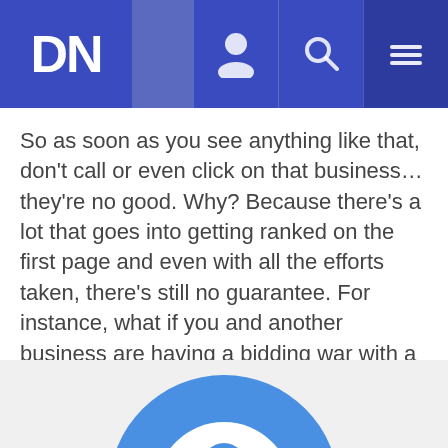DN
So as soon as you see anything like that, don’t call or even click on that business… they’re no good. Why? Because there’s a lot that goes into getting ranked on the first page and even with all the efforts taken, there’s still no guarantee. For instance, what if you and another business are having a bidding war with a particular keyword… who will get it? The bottom line is that first-page ranking is something that just should never be guaranteed.
[Figure (logo): Partial circular logo or icon in blue, cropped at bottom of page]